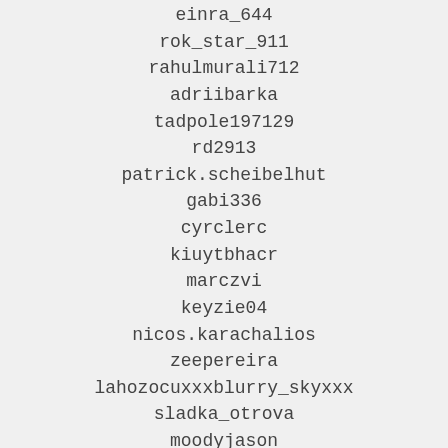einra_644
rok_star_911
rahulmurali712
adriibarka
tadpole197129
rd2913
patrick.scheibelhut
gabi336
cyrclerc
kiuytbhacr
marczvi
keyzie04
nicos.karachalios
zeepereira
lahozocuxxxblurry_skyxxx
sladka_otrova
moodyjason
pcredle1
chewyong
uihiah
bythorr
zee.fairlady
brunoaudibert
chelle1214
jacques.daviet